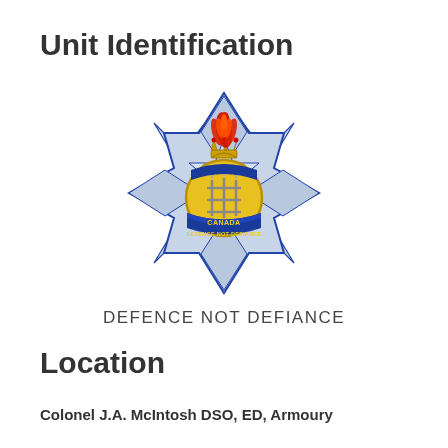Unit Identification
[Figure (logo): Canadian military unit badge: a blue and white star/snowflake shape with a central yellow circle containing stylized gate or portcullis symbol, a blue banner reading 'CANADA / DEFENCE NOT DEFIANCE', topped with a red crown and red flame plume.]
DEFENCE NOT DEFIANCE
Location
Colonel J.A. McIntosh DSO, ED, Armoury